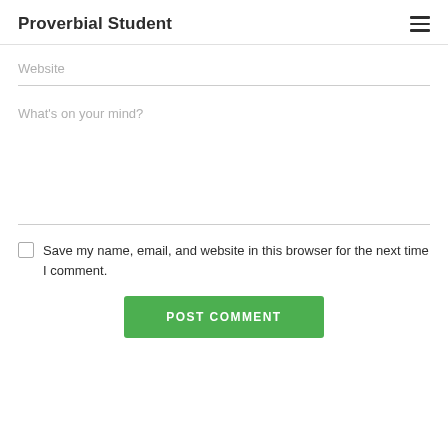Proverbial Student
Website
What's on your mind?
Save my name, email, and website in this browser for the next time I comment.
POST COMMENT